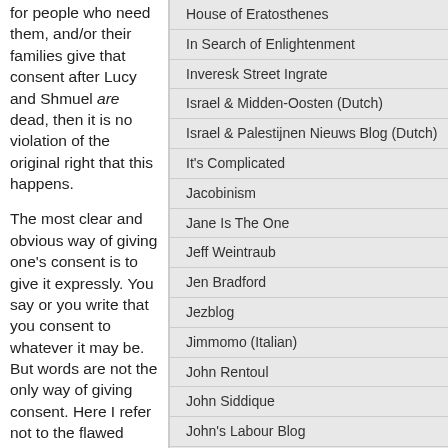for people who need them, and/or their families give that consent after Lucy and Shmuel are dead, then it is no violation of the original right that this happens.
The most clear and obvious way of giving one's consent is to give it expressly. You say or you write that you consent to whatever it may be. But words are not the only way of giving consent. Here I refer not to the flawed notion of 'tacit' consent
House of Eratosthenes
In Search of Enlightenment
Inveresk Street Ingrate
Israel & Midden-Oosten (Dutch)
Israel & Palestijnen Nieuws Blog (Dutch)
It's Complicated
Jacobinism
Jane Is The One
Jeff Weintraub
Jen Bradford
Jezblog
Jimmomo (Italian)
John Rentoul
John Siddique
John's Labour Blog
Johninnit
Jonathan Foreman
Jonathan Freedland